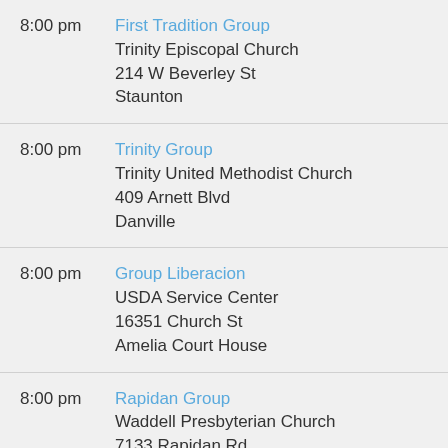8:00 pm | First Tradition Group
Trinity Episcopal Church
214 W Beverley St
Staunton
8:00 pm | Trinity Group
Trinity United Methodist Church
409 Arnett Blvd
Danville
8:00 pm | Group Liberacion
USDA Service Center
16351 Church St
Amelia Court House
8:00 pm | Rapidan Group
Waddell Presbyterian Church
7133 Rapidan Rd
Rapidan
8:00 pm | Friday Night Group